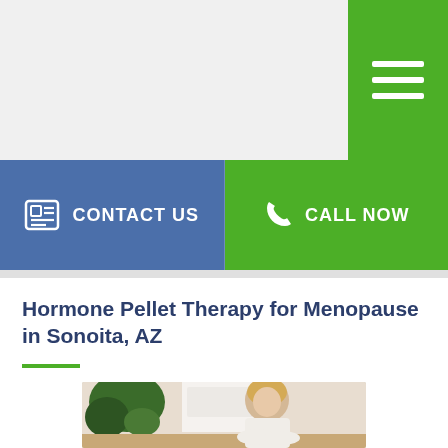[Figure (screenshot): Green hamburger/menu button in top right corner of webpage]
CONTACT US
CALL NOW
Hormone Pellet Therapy for Menopause in Sonoita, AZ
[Figure (photo): Middle-aged blonde woman in white jacket sitting at a wooden table in a kitchen, smiling, with green plant nearby]